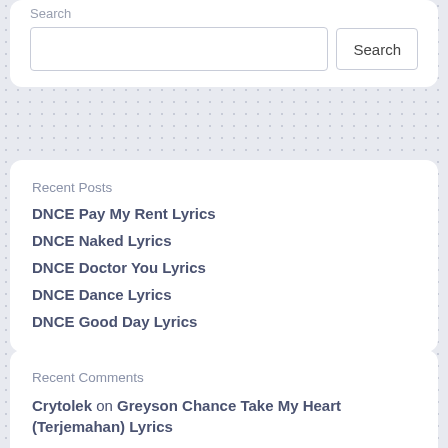Search
Recent Posts
DNCE Pay My Rent Lyrics
DNCE Naked Lyrics
DNCE Doctor You Lyrics
DNCE Dance Lyrics
DNCE Good Day Lyrics
Recent Comments
Crytolek on Greyson Chance Take My Heart (Terjemahan) Lyrics
Crytolek on Greyson Chance Take My Heart (Terjemahan) Lyrics